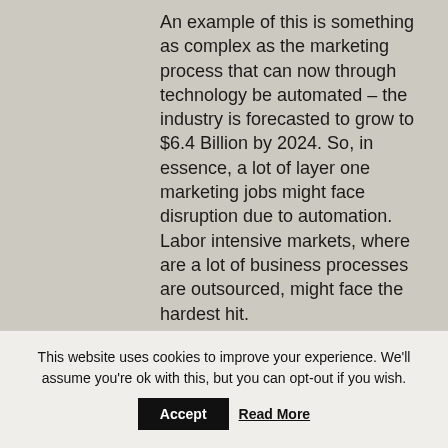An example of this is something as complex as the marketing process that can now through technology be automated – the industry is forecasted to grow to $6.4 Billion by 2024. So, in essence, a lot of layer one marketing jobs might face disruption due to automation. Labor intensive markets, where are a lot of business processes are outsourced, might face the hardest hit.

We also have the capacity to
This website uses cookies to improve your experience. We'll assume you're ok with this, but you can opt-out if you wish. Accept Read More